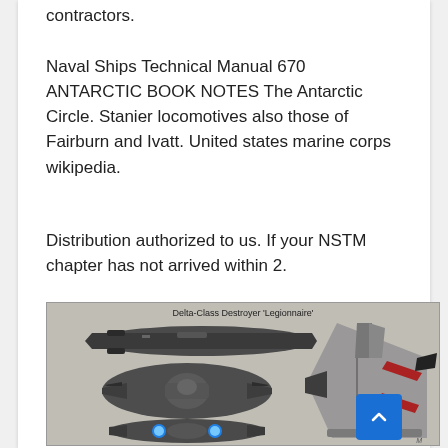contractors.
Naval Ships Technical Manual 670 ANTARCTIC BOOK NOTES The Antarctic Circle. Stanier locomotives also those of Fairburn and Ivatt. United states marine corps wikipedia.
Distribution authorized to us. If your NSTM chapter has not arrived within 2.
[Figure (illustration): Multi-view schematic illustration of Delta-Class Destroyer 'Legionnaire' showing top, side, and front views of a sci-fi/fictional warship with label at top reading 'Delta-Class Destroyer Legionnaire']